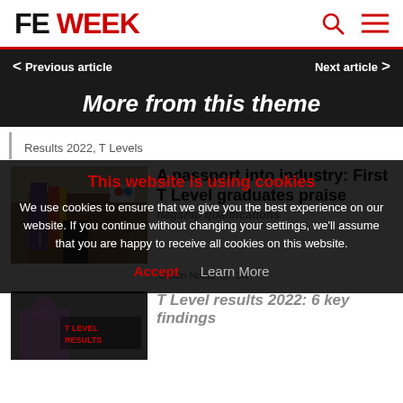FE WEEK
Previous article
Next article
More from this theme
Results 2022, T Levels
[Figure (photo): Building exterior with colorful banners reading 'welcome', brick facade, SUK logo visible]
A passport into industry: First T Level graduates praise flagship qualifications
Jason Noble  2w
This website is using cookies
We use cookies to ensure that we give you the best experience on our website. If you continue without changing your settings, we'll assume that you are happy to receive all cookies on this website.
Accept  Learn More
[Figure (photo): Dark image with T LEVEL RESULTS text overlay]
T Level results 2022: 6 key findings